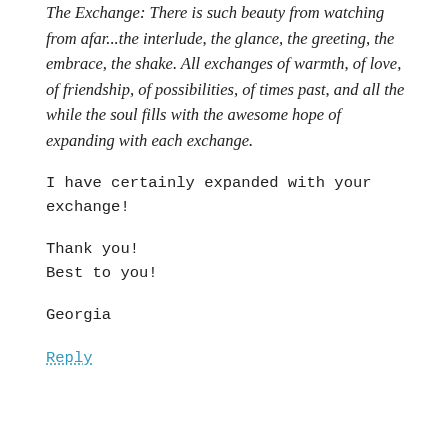The Exchange: There is such beauty from watching from afar...the interlude, the glance, the greeting, the embrace, the shake. All exchanges of warmth, of love, of friendship, of possibilities, of times past, and all the while the soul fills with the awesome hope of expanding with each exchange.
I have certainly expanded with your exchange!
Thank you!
Best to you!
Georgia
Reply